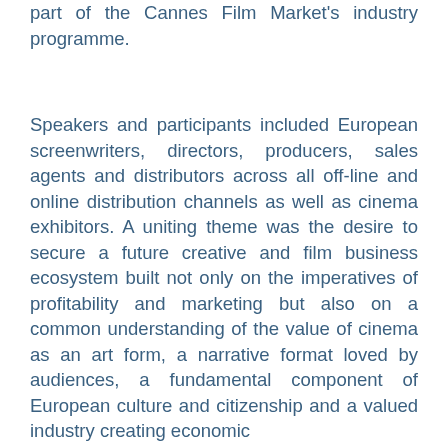part of the Cannes Film Market's industry programme.
Speakers and participants included European screenwriters, directors, producers, sales agents and distributors across all off-line and online distribution channels as well as cinema exhibitors. A uniting theme was the desire to secure a future creative and film business ecosystem built not only on the imperatives of profitability and marketing but also on a common understanding of the value of cinema as an art form, a narrative format loved by audiences, a fundamental component of European culture and citizenship and a valued industry creating economic